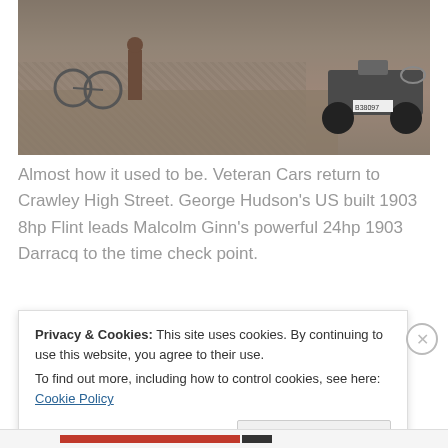[Figure (photo): Photo of veteran cars on cobblestone street, Crawley High Street. A vintage car with license plate visible on the right, bicycles and pedestrian on the left.]
Almost how it used to be. Veteran Cars return to Crawley High Street. George Hudson's US built 1903 8hp Flint leads Malcolm Ginn's powerful 24hp 1903 Darracq to the time check point.
[Figure (photo): Partial image of a street lamp with two lamp heads visible against a white background.]
Privacy & Cookies: This site uses cookies. By continuing to use this website, you agree to their use.
To find out more, including how to control cookies, see here: Cookie Policy
Close and accept